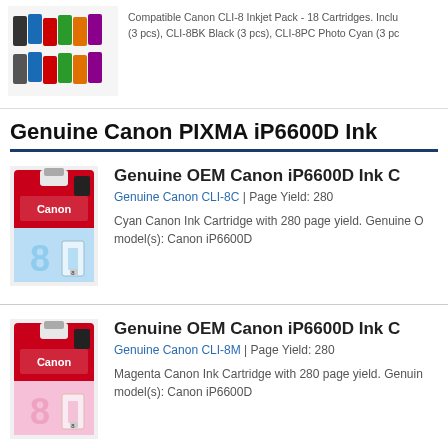[Figure (photo): Multi-pack of Canon CLI-8 ink cartridges]
Compatible Canon CLI-8 Inkjet Pack - 18 Cartridges. Inclu (3 pcs), CLI-8BK Black (3 pcs), CLI-8PC Photo Cyan (3 pc
Genuine Canon PIXMA iP6600D Ink
[Figure (photo): Genuine Canon CLI-8C cyan ink cartridge]
Genuine OEM Canon iP6600D Ink C
Genuine Canon CLI-8C | Page Yield: 280
Cyan Canon Ink Cartridge with 280 page yield. Genuine O model(s): Canon iP6600D
[Figure (photo): Genuine Canon CLI-8M magenta ink cartridge]
Genuine OEM Canon iP6600D Ink C
Genuine Canon CLI-8M | Page Yield: 280
Magenta Canon Ink Cartridge with 280 page yield. Genuin model(s): Canon iP6600D